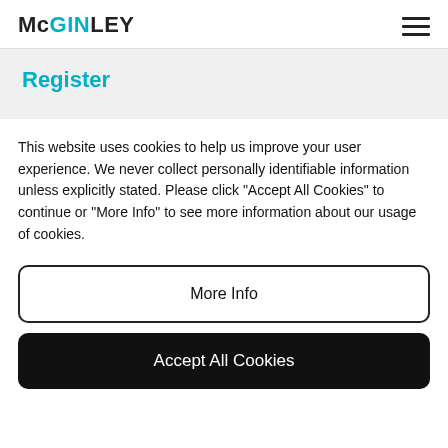McGINLEY
Register
This website uses cookies to help us improve your user experience. We never collect personally identifiable information unless explicitly stated. Please click "Accept All Cookies" to continue or "More Info" to see more information about our usage of cookies.
More Info
Accept All Cookies